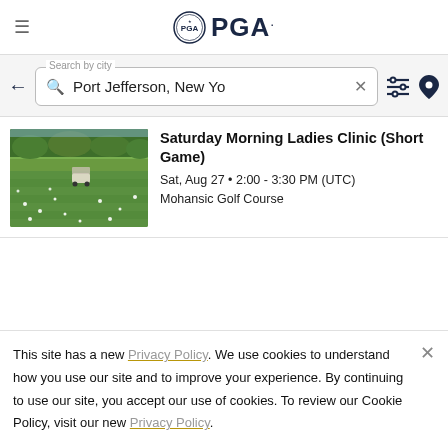PGA
Search by city: Port Jefferson, New Yo
Saturday Morning Ladies Clinic (Short Game)
Sat, Aug 27 • 2:00 - 3:30 PM (UTC)
Mohansic Golf Course
This site has a new Privacy Policy. We use cookies to understand how you use our site and to improve your experience. By continuing to use our site, you accept our use of cookies. To review our Cookie Policy, visit our new Privacy Policy.